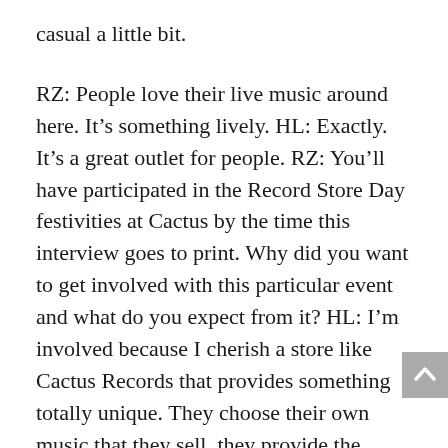casual a little bit.
RZ: People love their live music around here. It’s something lively. HL: Exactly. It’s a great outlet for people. RZ: You’ll have participated in the Record Store Day festivities at Cactus by the time this interview goes to print. Why did you want to get involved with this particular event and what do you expect from it? HL: I’m involved because I cherish a store like Cactus Records that provides something totally unique. They choose their own music that they sell, they provide the different formats. You walk in, the place is just cool. They sell my music, so